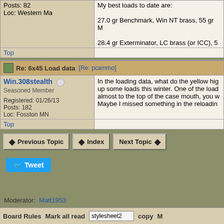Posts: 82
Loc: Western Ma
My best loads to date are:

27.0 gr Benchmark, Win NT brass, 55 gr M...

28.4 gr Exterminator, LC brass (or ICC), 5...
Top
Re: 6x45 Load data [Re: pcammo]
Win.308stealth
Seasoned Member

Registered: 01/26/13
Posts: 182
Loc: Fosston MN
In the loading data, what do the yellow hig... up some loads this winter. One of the load... almost to the top of the case mouth, you w... Maybe I missed something in the reloadin...
Top
Previous Topic
Index
Next Topic
Tweet
Moderator:  Matt1953
Board Rules   Mark all read   stylesheet2   copy   M...